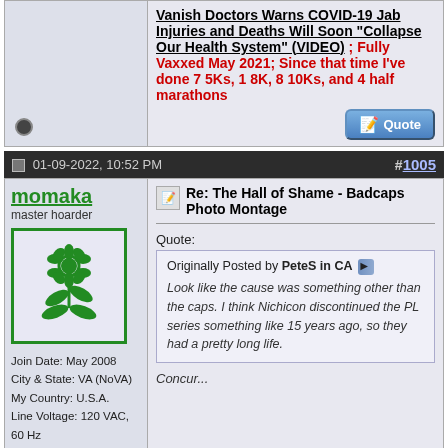Vanish Doctors Warns COVID-19 Jab Injuries and Deaths Will Soon "Collapse Our Health System" (VIDEO) ; Fully Vaxxed May 2021; Since that time I've done 7 5Ks, 1 8K, 8 10Ks, and 4 half marathons
[Figure (screenshot): Quote button]
01-09-2022, 10:52 PM  #1005
momaka
master hoarder
[Figure (illustration): Green flower/plant avatar icon in a green bordered box]
Join Date: May 2008
City & State: VA (NoVA)
My Country: U.S.A.
Line Voltage: 120 VAC, 60 Hz
I'm a: Hobbyist Tech
Posts: 10,860
Re: The Hall of Shame - Badcaps Photo Montage
Quote:
Originally Posted by PeteS in CA
Look like the cause was something other than the caps. I think Nichicon discontinued the PL series something like 15 years ago, so they had a pretty long life.
Concur...